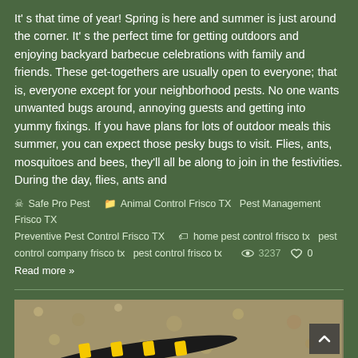It's that time of year! Spring is here and summer is just around the corner. It's the perfect time for getting outdoors and enjoying backyard barbecue celebrations with family and friends. These get-togethers are usually open to everyone; that is, everyone except for your neighborhood pests. No one wants unwanted bugs around, annoying guests and getting into yummy fixings. If you have plans for lots of outdoor meals this summer, you can expect those pesky bugs to visit. Flies, ants, mosquitoes and bees, they'll all be along to join in the festivities. During the day, flies, ants and
Safe Pro Pest   Animal Control Frisco TX  Pest Management Frisco TX  Preventive Pest Control Frisco TX   home pest control frisco tx  pest control company frisco tx  pest control frisco tx   3237  0
Read more »
[Figure (photo): Close-up photo of a black and yellow insect (possibly a wasp or hornet) on a sandy/gravel ground background]